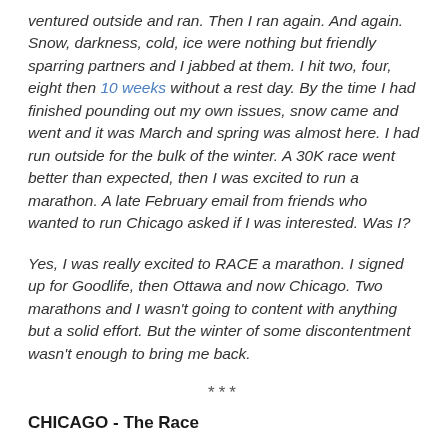ventured outside and ran. Then I ran again. And again. Snow, darkness, cold, ice were nothing but friendly sparring partners and I jabbed at them. I hit two, four, eight then 10 weeks without a rest day. By the time I had finished pounding out my own issues, snow came and went and it was March and spring was almost here. I had run outside for the bulk of the winter. A 30K race went better than expected, then I was excited to run a  marathon. A late February email from friends who wanted to run Chicago asked if I was interested. Was I?
Yes, I was really excited to RACE a marathon. I signed up for Goodlife, then Ottawa and now Chicago. Two marathons and I wasn't going to content with anything but a solid effort. But the winter of some discontentment wasn't enough to bring me back.
***
CHICAGO - The Race